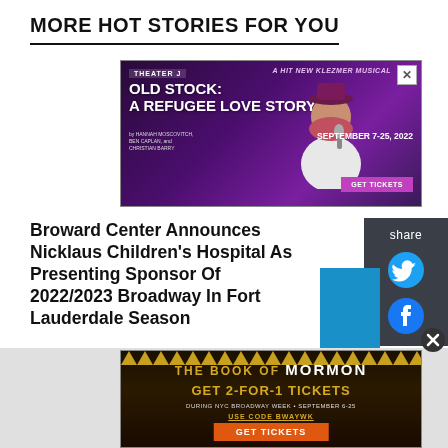MORE HOT STORIES FOR YOU
[Figure (photo): Theater J advertisement for 'Old Stock: A Refugee Love Story' - A Hit New Klezmer Musical, September 7-25, 2022, with Get Tickets button]
Broward Center Announces Nicklaus Children's Hospital As Presenting Sponsor Of 2022/2023 Broadway In Fort Lauderdale Season
August 31, 2022
[Figure (photo): The Book of Mormon advertisement - Get 2-For-1 Tickets during NYC Broadway Week, September 6-25, Use Code BWAYWK, Get Tickets button]